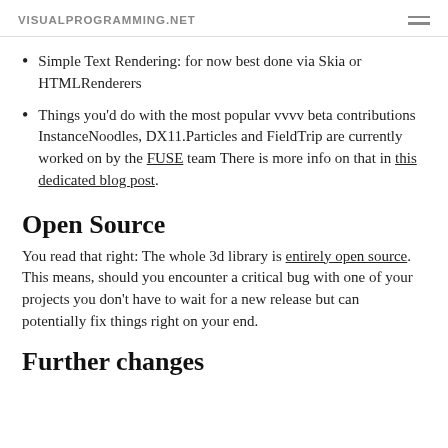VISUALPROGRAMMING.NET
Simple Text Rendering: for now best done via Skia or HTMLRenderers
Things you'd do with the most popular vvvv beta contributions InstanceNoodles, DX11.Particles and FieldTrip are currently worked on by the FUSE team There is more info on that in this dedicated blog post.
Open Source
You read that right: The whole 3d library is entirely open source. This means, should you encounter a critical bug with one of your projects you don't have to wait for a new release but can potentially fix things right on your end.
Further changes